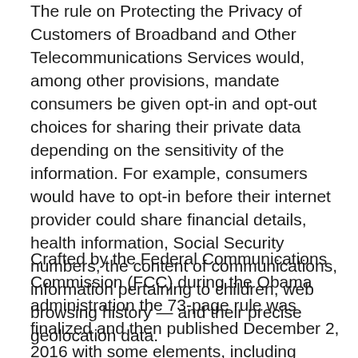The rule on Protecting the Privacy of Customers of Broadband and Other Telecommunications Services would, among other provisions, mandate consumers be given opt-in and opt-out choices for sharing their private data depending on the sensitivity of the information. For example, consumers would have to opt-in before their internet provider could share financial details, health information, Social Security numbers, the content of communications, information pertaining to children, web browsing history — and their precise geolocation data.
Crafted by the Federal Communications Commission (FCC) during the Obama administration the 73-page rule was finalized and then published December 2, 2016 with some elements, including changes to the existing opt-in/out rules, set to go into effect on